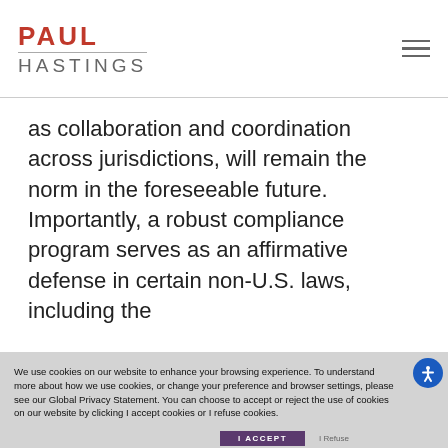PAUL HASTINGS
as collaboration and coordination across jurisdictions, will remain the norm in the foreseeable future. Importantly, a robust compliance program serves as an affirmative defense in certain non-U.S. laws, including the
We use cookies on our website to enhance your browsing experience. To understand more about how we use cookies, or change your preference and browser settings, please see our Global Privacy Statement. You can choose to accept or reject the use of cookies on our website by clicking I accept cookies or I refuse cookies.

Please note that if you choose to reject cookies, doing so may impair some of our website’s functionality.
I ACCEPT
I Refuse